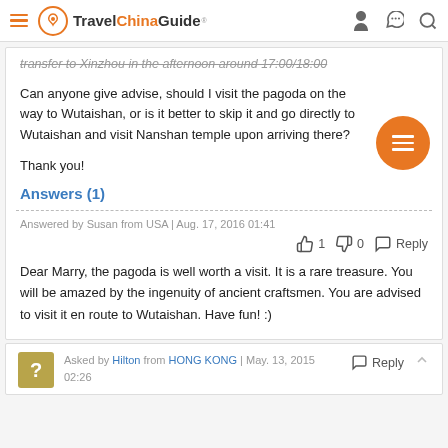Travel China Guide
transfer to Xinzhou in the afternoon around 17:00/18:00
Can anyone give advise, should I visit the pagoda on the way to Wutaishan, or is it better to skip it and go directly to Wutaishan and visit Nanshan temple upon arriving there?
Thank you!
Answers (1)
Answered by Susan from USA | Aug. 17, 2016 01:41
👍 1   👎 0   Reply
Dear Marry, the pagoda is well worth a visit. It is a rare treasure. You will be amazed by the ingenuity of ancient craftsmen. You are advised to visit it en route to Wutaishan. Have fun! :)
Asked by Hilton from HONG KONG | May. 13, 2015 02:26